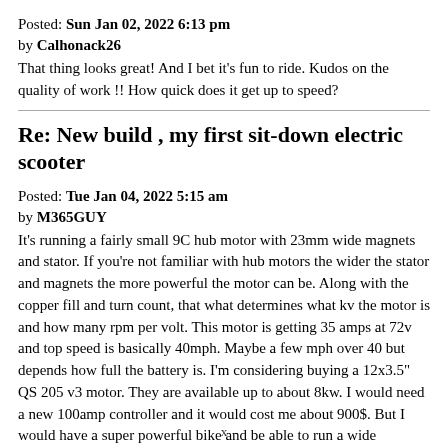Posted: Sun Jan 02, 2022 6:13 pm
by Calhonack26
That thing looks great! And I bet it's fun to ride. Kudos on the quality of work !! How quick does it get up to speed?
Re: New build , my first sit-down electric scooter
Posted: Tue Jan 04, 2022 5:15 am
by M365GUY
It's running a fairly small 9C hub motor with 23mm wide magnets and stator. If you're not familiar with hub motors the wider the stator and magnets the more powerful the motor can be. Along with the copper fill and turn count, that what determines what kv the motor is and how many rpm per volt. This motor is getting 35 amps at 72v and top speed is basically 40mph. Maybe a few mph over 40 but depends how full the battery is. I'm considering buying a 12x3.5" QS 205 v3 motor. They are available up to about 8kw. I would need a new 100amp controller and it would cost me about 900$. But I would have a super powerful bike and be able to run a wide motorcycle tire in the rear.
I guess it's fast enough right now but i want to be able to do fat
x